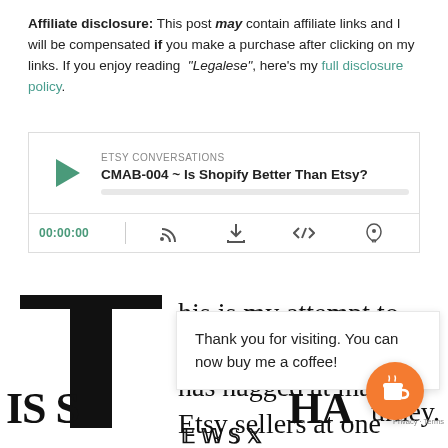Affiliate disclosure: This post may contain affiliate links and I will be compensated if you make a purchase after clicking on my links. If you enjoy reading "Legalese", here's my full disclosure policy.
[Figure (screenshot): Embedded podcast player showing 'ETSY CONVERSATIONS' label and episode title 'CMAB-004 ~ Is Shopify Better Than Etsy?' with play button, progress bar, and playback controls including time display 00:00:00]
This is my attempt to answer a question that has nagged at many Etsy sellers at one point or another on their journey.
Thank you for visiting. You can now buy me a coffee!
IS S
HA
ETSY